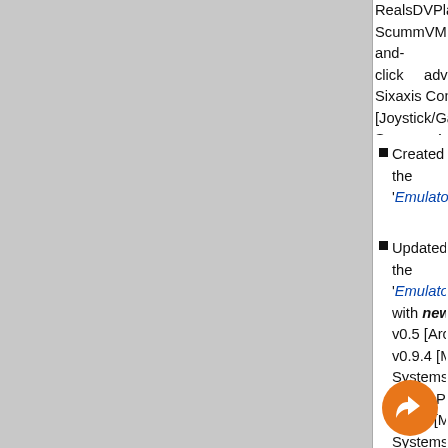RealsDVPlayer v1.0.10 [SBC], ScummVM v1.8.1 [Graphical point-and-click adventure games], Sixaxis Controller v0.9.0 [Joystick/Gamepad], Speccy v4.0.8 [Sinclair ZX Spectrum], uoYabause v0.3.0 [Sega Saturn], VGBAnext v5.2.10 [Nintendo Game Boy/Game Boy Advance], Virtual GameBoy v4.9.8 [Nintendo Game Boy], XEBRA v16.06.19 [Sony PlayStation]);
Created the 'Emulators/Linux' section;
Updated the 'Emulators/Mac OS' section with new emulators (IAMAME v0.5 [Arcade (MAME)], JKCemu v0.9.4 [Multi-Systems (MISC)], Phoenix LibRetro v0.0.1 Pre-Alpha [Multi-Systems (MISC)], Z64K v2016.06.23b [Atari 2600, Commodore 64/VIC 20]) and new versions of existing ones (Citra v2016.06.15 [Nintendo 3DS], CocoaMSX v1.55 [MSX], Dolphin v5.0 [Nintendo GameCube/Wii], Dolphin GIT v5.0... [Nintendo GameCube/Wii, Toaditi...